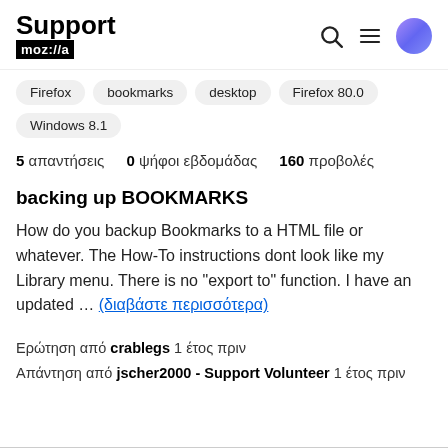Support mozilla // Search Menu Avatar
Firefox
bookmarks
desktop
Firefox 80.0
Windows 8.1
5 απαντήσεις   0 ψήφοι εβδομάδας   160 προβολές
backing up BOOKMARKS
How do you backup Bookmarks to a HTML file or whatever. The How-To instructions dont look like my Library menu. There is no "export to" function. I have an updated … (διαβάστε περισσότερα)
Ερώτηση από crablegs 1 έτος πριν
Απάντηση από jscher2000 - Support Volunteer 1 έτος πριν